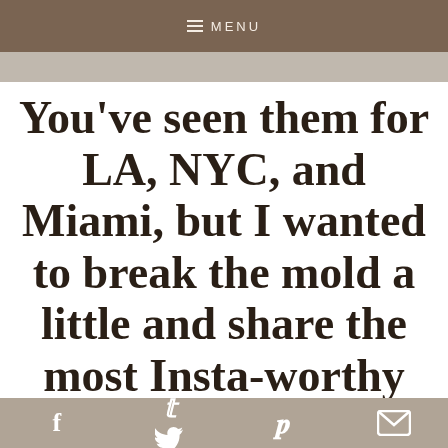MENU
[Figure (photo): Partial photo strip at top of content area, showing a muted brownish-grey image]
You've seen them for LA, NYC, and Miami, but I wanted to break the mold a little and share the most Insta-worthy spots in RVA!
I'm a proud Richmonder, as I was born and raised
Social sharing icons: Facebook, Twitter, Pinterest, Email